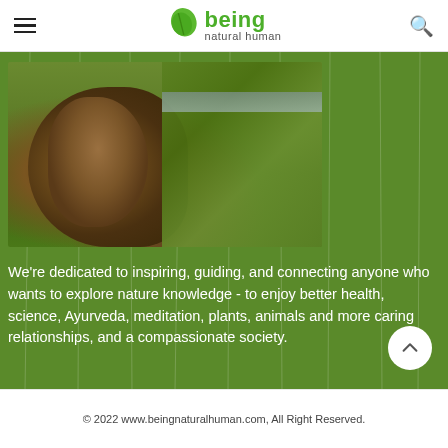being natural human
[Figure (photo): Close-up photo of a large tree trunk with rough bark, with green grass and a road visible in the background]
We're dedicated to inspiring, guiding, and connecting anyone who wants to explore nature knowledge - to enjoy better health, science, Ayurveda, meditation, plants, animals and more caring relationships, and a compassionate society.
© 2022 www.beingnaturalhuman.com, All Right Reserved.